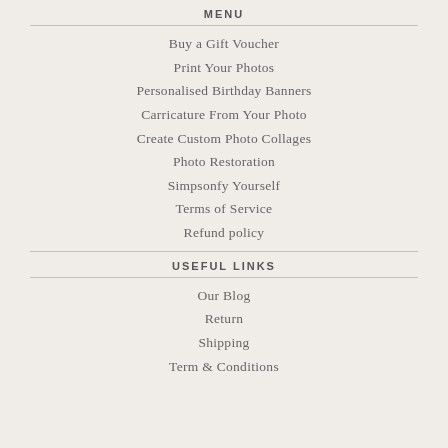MENU
Buy a Gift Voucher
Print Your Photos
Personalised Birthday Banners
Carricature From Your Photo
Create Custom Photo Collages
Photo Restoration
Simpsonfy Yourself
Terms of Service
Refund policy
USEFUL LINKS
Our Blog
Return
Shipping
Term & Conditions